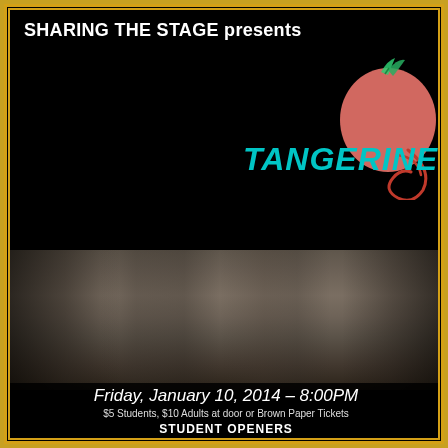SHARING THE STAGE presents
[Figure (logo): Tangerine band logo with stylized tangerine fruit graphic above teal italic 'TANGERINE' lettering with red swirl]
[Figure (photo): Photo of four young people (the band Tangerine) posing together, smiling, against a dark background]
Friday, January 10, 2014 – 8:00PM
$5 Students, $10 Adults at door or Brown Paper Tickets
STUDENT OPENERS